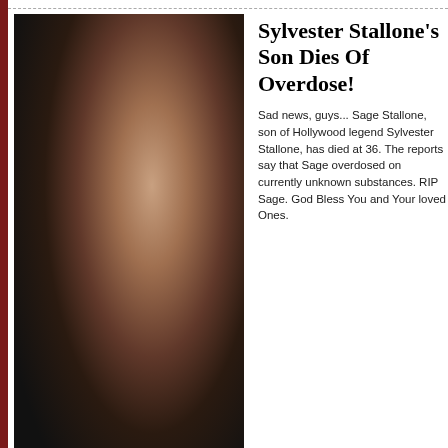[Figure (photo): Photo of a young man with dark curly hair, profile/three-quarter view against a dark background]
Sylvester Stallone's Son Dies Of Overdose!
Sad news, guys... Sage Stallone, son of Hollywood legend Sylvester Stallone, has died at 36. The reports say that Sage overdosed on currently unknown substances. RIP Sage. God Bless You and Your loved Ones.
CELEBRITY KIDS | July 14th, 2012
[Figure (photo): Photo of two people — a man and a woman drinking from a champagne glass]
Rihanna Has Become Alcoholic, Chris Brown Concerned
Rihanna is reportedly coping with grandma's passing away with the help of alcohol and weed. And apparently Chris Brown is concerned and reportedly will not reach out until he's sure she's all right. Maybe it's a plan to get her back?